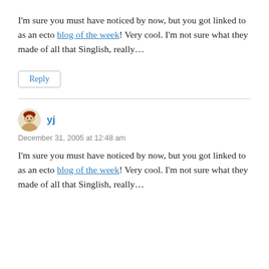I'm sure you must have noticed by now, but you got linked to as an ecto blog of the week! Very cool. I'm not sure what they made of all that Singlish, really…
Reply
yj
December 31, 2005 at 12:48 am
I'm sure you must have noticed by now, but you got linked to as an ecto blog of the week! Very cool. I'm not sure what they made of all that Singlish, really…